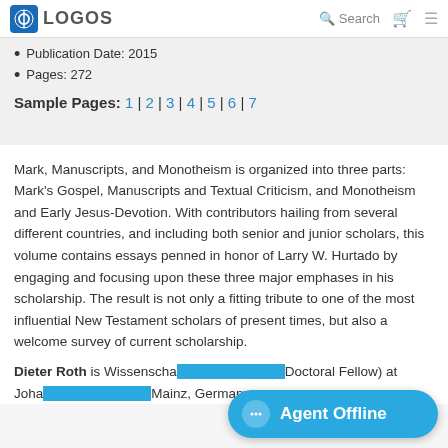LOGOS | Search
Publication Date: 2015
Pages: 272
Sample Pages: 1 | 2 | 3 | 4 | 5 | 6 | 7
Mark, Manuscripts, and Monotheism is organized into three parts: Mark's Gospel, Manuscripts and Textual Criticism, and Monotheism and Early Jesus-Devotion. With contributors hailing from several different countries, and including both senior and junior scholars, this volume contains essays penned in honor of Larry W. Hurtado by engaging and focusing upon these three major emphases in his scholarship. The result is not only a fitting tribute to one of the most influential New Testament scholars of present times, but also a welcome survey of current scholarship.
Dieter Roth is Wissenscha... Doctoral Fellow) at Joha... Mainz, Germany.